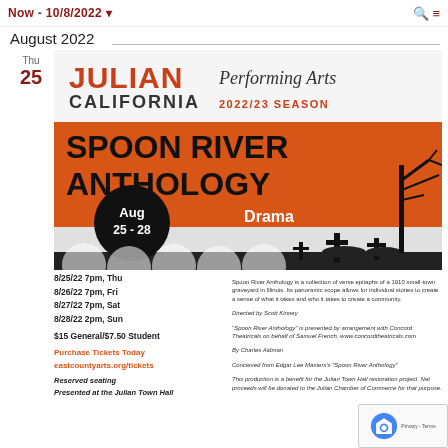Now - 10/8/2022
August 2022
Thu
25
[Figure (illustration): Julian California Performing Arts 2022/23 Season poster for Spoon River Anthology Drama, Aug 25-28, with graveyard silhouette imagery on orange and black background]
8/25/22 7pm, Thu
8/26/22 7pm, Fri
8/27/22 7pm, Sat
8/28/22 2pm, Sun
$15 General/$7.50 Student
Purchase Tickets Today
eastcountyarts.org/tickets
Reserved seating
Presented at the Julian Town Hall
Spoon River Anthology is a collection of verse epitaphs of a 1910 small-town graveyard in Illinois. Its panoramic scope allows for individual stories to create a sense of what it takes and who it takes to create a community.

Directed by Scott Kinney

"Spoon River Anthology" is presented by arrangement with Concord Theatricals on behalf of Samuel French, www.concordtheatricals.com

By Charles Aidman

Concieved from Edgar Lee Masters's "Spoon River Anthology"

This production is a benefit for the Julian Town Hall restoration project. Net proceeds will be donated to the Julian Chamber of Commerce for that purpose.